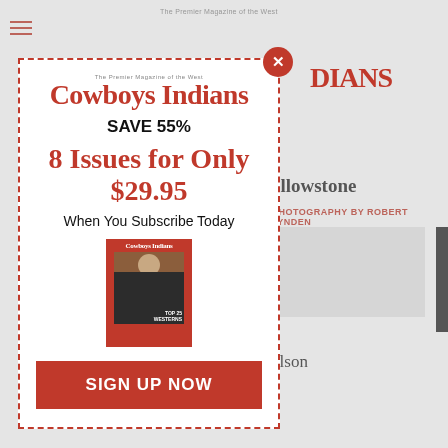[Figure (screenshot): Cowboys & Indians magazine subscription popup modal overlay on a website. The modal shows the Cowboys & Indians logo, 'SAVE 55%', '8 Issues for Only $29.95', 'When You Subscribe Today', a magazine cover image, and a red 'SIGN UP NOW' button. Behind the modal, partial background page content is visible including 'ellowstone', 'PHOTOGRAPHY BY ROBERT LYNDEN', 'elson', and 'Longmire Journey' text, plus a partial Cowboys & Indians logo at top right. A red X close button appears at the top of the modal.]